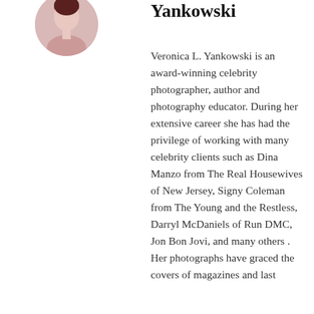[Figure (photo): Circular portrait photo of Veronica L. Yankowski, showing head/shoulders against a light background]
Yankowski
Veronica L. Yankowski is an award-winning celebrity photographer, author and photography educator. During her extensive career she has had the privilege of working with many celebrity clients such as Dina Manzo from The Real Housewives of New Jersey, Signy Coleman from The Young and the Restless, Darryl McDaniels of Run DMC, Jon Bon Jovi, and many others . Her photographs have graced the covers of magazines and last